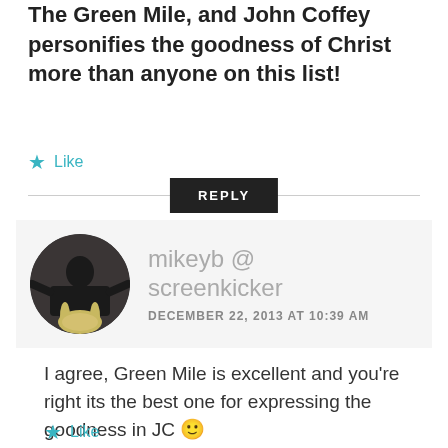The Green Mile, and John Coffey personifies the goodness of Christ more than anyone on this list!
★ Like
REPLY
mikeyb @ screenkicker
DECEMBER 22, 2013 AT 10:39 AM
I agree, Green Mile is excellent and you're right its the best one for expressing the goodness in JC 🙂
★ Like